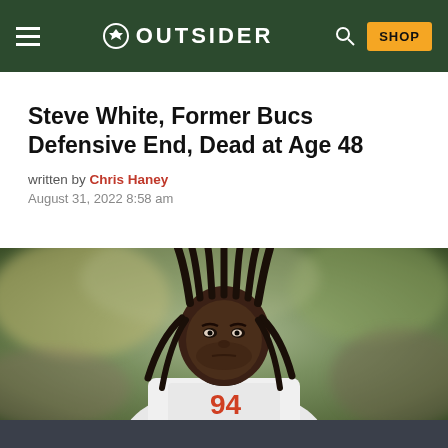OUTSIDER — navigation bar with hamburger menu, logo, search icon, and SHOP button
Steve White, Former Bucs Defensive End, Dead at Age 48
written by Chris Haney
August 31, 2022 8:58 am
[Figure (photo): Steve White in Tampa Bay Buccaneers white uniform jersey number 94, with dreadlocks, intense expression, blurred stadium crowd background]